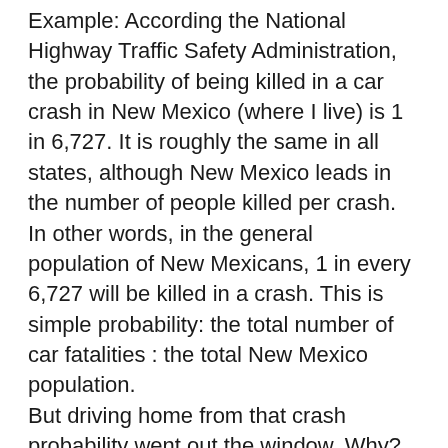Example: According the National Highway Traffic Safety Administration, the probability of being killed in a car crash in New Mexico (where I live) is 1 in 6,727. It is roughly the same in all states, although New Mexico leads in the number of people killed per crash. In other words, in the general population of New Mexicans, 1 in every 6,727 will be killed in a crash. This is simple probability: the total number of car fatalities : the total New Mexico population.
But driving home from that crash probability went out the window. Why? Because I was afraid. When we're afraid, our already tenuous grasp on what is a threat and what is not evaporates. When we are afraid, we are the